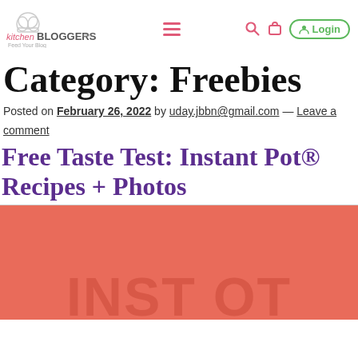kitchenBLOGGERS.com Feed Your Blog — navigation with hamburger menu, search, cart, Login
Category: Freebies
Posted on February 26, 2022 by uday.jbbn@gmail.com — Leave a comment
Free Taste Test: Instant Pot® Recipes + Photos
[Figure (photo): Coral/red background image with faint watermark text at bottom, partial view]